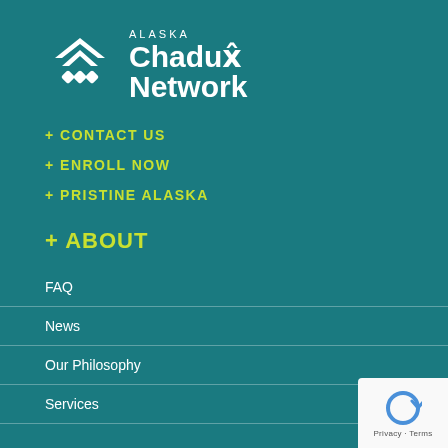[Figure (logo): Alaska Chadux Network logo with white chevron/diamond icon and white text]
+ CONTACT US
+ ENROLL NOW
+ PRISTINE ALASKA
+ ABOUT
FAQ
News
Our Philosophy
Services
+ VESSEL MONITORING